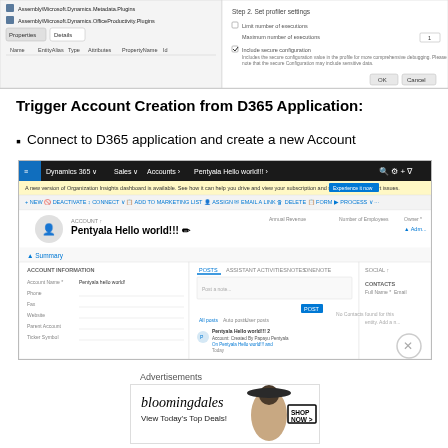[Figure (screenshot): Two-pane plugin/profiler settings dialog screenshot showing Assembly Microsoft Dynamics plugins and step 2 set profiler settings panel with OK/Cancel buttons]
Trigger Account Creation from D365 Application:
Connect to D365 application and create a new Account
[Figure (screenshot): Microsoft Dynamics 365 Sales application showing Pentyala Hello world!!! account page with Summary section, Account Information panel, Posts/Assistant/Activities/Notes/OneNote tabs, and Contacts panel]
Advertisements
[Figure (photo): Bloomingdale's advertisement banner: 'bloomingdales View Today's Top Deals!' with woman wearing hat and SHOP NOW button]